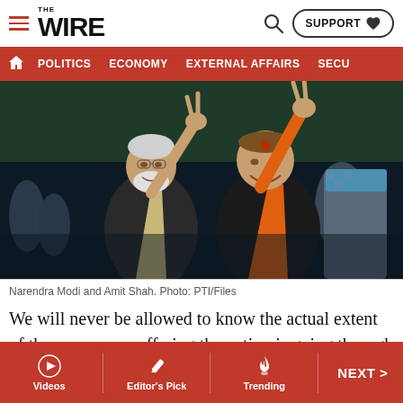THE WIRE
POLITICS  ECONOMY  EXTERNAL AFFAIRS  SECU
[Figure (photo): Narendra Modi and Amit Shah both making victory/peace signs with their hands raised, standing together. Modi is on the left in a dark jacket over light kurta, Shah on the right in black vest over orange kurta. Background shows a nighttime crowd scene.]
Narendra Modi and Amit Shah. Photo: PTI/Files
We will never be allowed to know the actual extent of the enormous suffering the nation is going through today. The
Videos  Editor's Pick  Trending  NEXT >